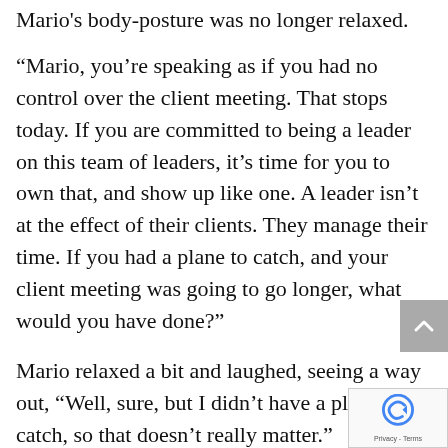Mario's body-posture was no longer relaxed.
“Mario, you’re speaking as if you had no control over the client meeting. That stops today. If you are committed to being a leader on this team of leaders, it’s time for you to own that, and show up like one. A leader isn’t at the effect of their clients. They manage their time. If you had a plane to catch, and your client meeting was going to go longer, what would you have done?”
Mario relaxed a bit and laughed, seeing a way out, “Well, sure, but I didn’t have a plane to catch, so that doesn’t really matter.”
Jonathan took it in stride, “Got it, let me ask you a new question: are you familiar with the